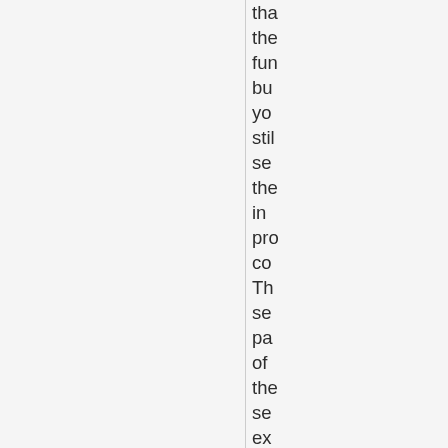tha
the
fun
bu
yo
stil
se
the
in
pro
co
Th
se
pa
of
the
se
ex
pra
tec
for
wo
on
be
na
inc